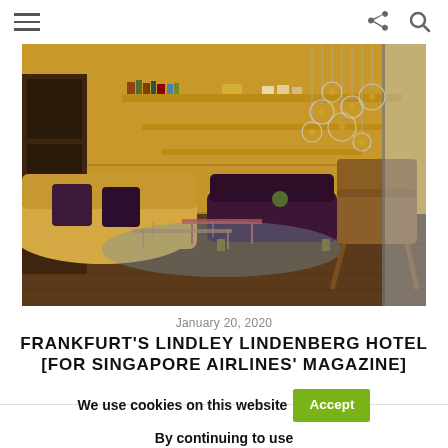Navigation bar with hamburger menu, share icon, and search icon
[Figure (photo): Interior of Lindley Lindenberg Hotel lobby in Frankfurt showing a yellow/cream sofa with dark purple cushions, a dark purple loveseat, a wooden mid-century modern chair, wire-frame coffee tables, a bookshelf on a mustard yellow wall, and hanging glass bubble pendant lights near large windows.]
January 20, 2020
FRANKFURT'S LINDLEY LINDENBERG HOTEL [FOR SINGAPORE AIRLINES' MAGAZINE]
We use cookies on this website  Accept  By continuing to use this site you are agreeing to our cookies policy Read More